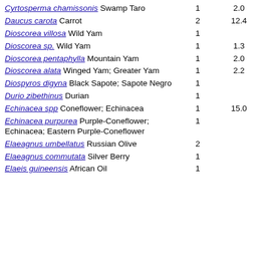| Name |  |  |
| --- | --- | --- |
| Cyrtosperma chamissonis Swamp Taro | 1 | 2.0 |
| Daucus carota Carrot | 2 | 12.4 |
| Dioscorea villosa Wild Yam | 1 |  |
| Dioscorea sp. Wild Yam | 1 | 1.3 |
| Dioscorea pentaphylla Mountain Yam | 1 | 2.0 |
| Dioscorea alata Winged Yam; Greater Yam | 1 | 2.2 |
| Diospyros digyna Black Sapote; Sapote Negro | 1 |  |
| Durio zibethinus Durian | 1 |  |
| Echinacea spp Coneflower; Echinacea | 1 | 15.0 |
| Echinacea purpurea Purple-Coneflower; Echinacea; Eastern Purple-Coneflower | 1 |  |
| Elaeagnus umbellatus Russian Olive | 2 |  |
| Elaeagnus commutata Silver Berry | 1 |  |
| Elaeis guineensis African Oil | 1 |  |